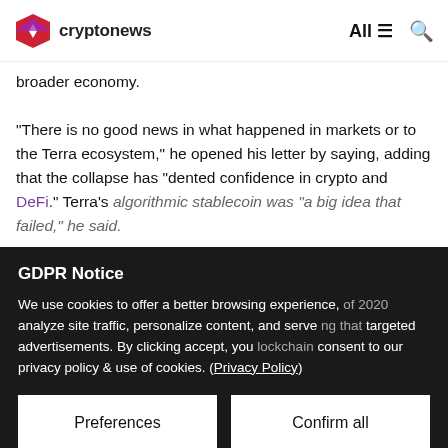cryptonews — All
broader economy.
“There is no good news in what happened in markets or to the Terra ecosystem,” he opened his letter by saying, adding that the collapse has “dented confidence in crypto and DeFi.” Terra’s algorithmic stablecoin was “a big idea that failed,” he said.
GDPR Notice
We use cookies to offer a better browsing experience, analyze site traffic, personalize content, and serve targeted advertisements. By clicking accept, you consent to our privacy policy & use of cookies. (Privacy Policy)
Preferences
Confirm all
“At the time, we understood that the Chat app, which was built